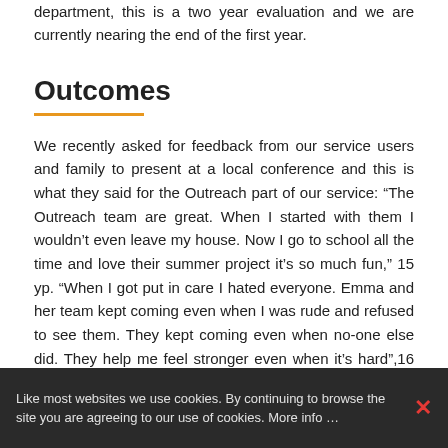department, this is a two year evaluation and we are currently nearing the end of the first year.
Outcomes
We recently asked for feedback from our service users and family to present at a local conference and this is what they said for the Outreach part of our service: “The Outreach team are great. When I started with them I wouldn’t even leave my house. Now I go to school all the time and love their summer project it’s so much fun,” 15 yp. “When I got put in care I hated everyone. Emma and her team kept coming even when I was rude and refused to see them. They kept coming even when no-one else did. They help me feel stronger even when it’s hard”,16 yp. “The Summer project is AMAZING!!!! Normally my mum says I can’t
Like most websites we use cookies. By continuing to browse the site you are agreeing to our use of cookies. More info …